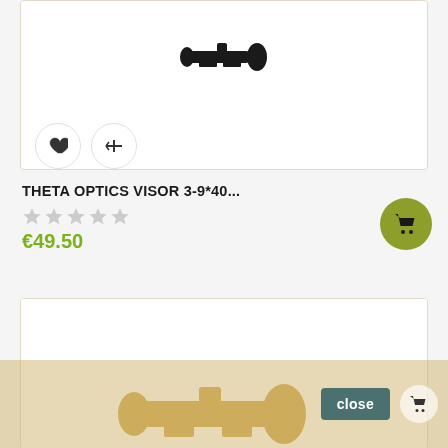[Figure (photo): Partial product card showing top of a riflescope/optic product with heart and compare action buttons]
THETA OPTICS VISOR 3-9*40...
★★★★★ (empty stars rating)
€49.50
[Figure (photo): Second product card showing a tan/gold colored riflescope partially visible with a close button overlay and cart icon]